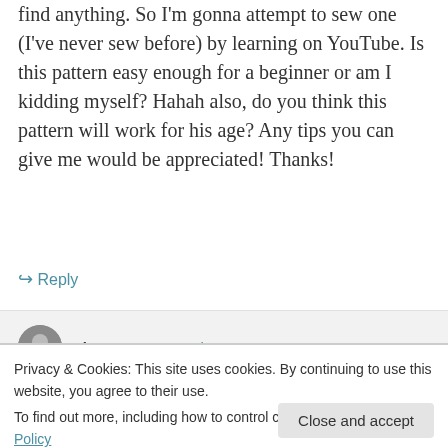find anything. So I'm gonna attempt to sew one (I've never sew before) by learning on YouTube. Is this pattern easy enough for a beginner or am I kidding myself? Hahah also, do you think this pattern will work for his age? Any tips you can give me would be appreciated! Thanks!
↪ Reply
Kirsten on September 20, 2014 at 7:49 am
Privacy & Cookies: This site uses cookies. By continuing to use this website, you agree to their use. To find out more, including how to control cookies, see here: Cookie Policy
Close and accept
so you wouldn't have to hem the cuts.